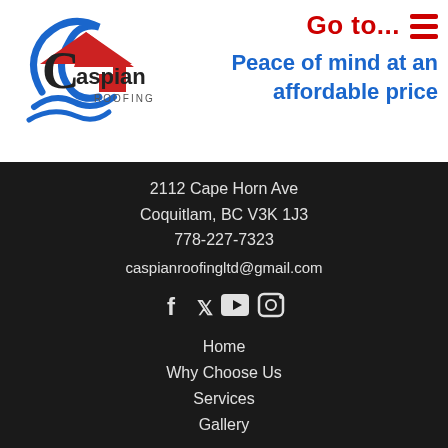[Figure (logo): Caspian Roofing logo with house roof icon and swirl/waves graphic in blue and red]
Go to...  ≡
Peace of mind at an affordable price
2112 Cape Horn Ave
Coquitlam, BC V3K 1J3
778-227-7323
caspianroofingltd@gmail.com
[Figure (infographic): Social media icons: Facebook (f), Twitter (bird), YouTube (play button), Instagram (camera)]
Home
Why Choose Us
Services
Gallery